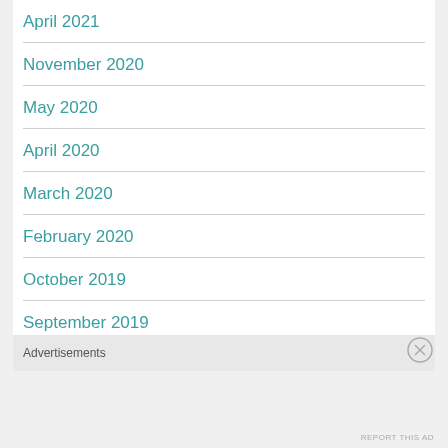April 2021
November 2020
May 2020
April 2020
March 2020
February 2020
October 2019
September 2019
May 2018
Advertisements
REPORT THIS AD